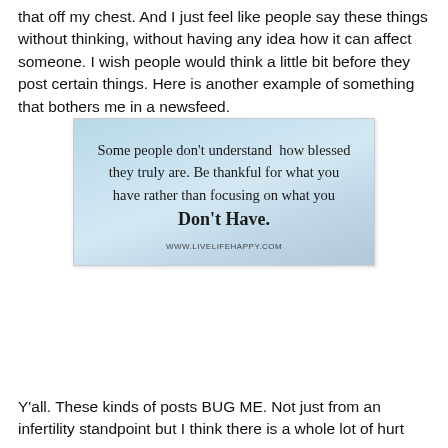that off my chest. And I just feel like people say these things without thinking, without having any idea how it can affect someone. I wish people would think a little bit before they post certain things. Here is another example of something that bothers me in a newsfeed.
[Figure (illustration): Inspirational quote image with light blue watercolor background. Text reads: 'Some people don't understand how blessed they truly are. Be thankful for what you have rather than focusing on what you Don't Have.' with URL www.livelifehappy.com at the bottom.]
Y'all. These kinds of posts BUG ME. Not just from an infertility standpoint but I think there is a whole lot of hurt...